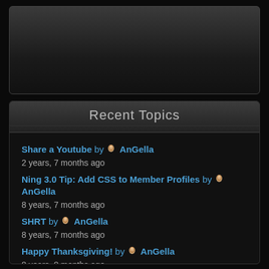[Figure (other): Dark banner/header area at the top of the page]
Recent Topics
Share a Youtube by AnGella
2 years, 7 months ago
Ning 3.0 Tip: Add CSS to Member Profiles by AnGella
8 years, 7 months ago
SHRT by AnGella
8 years, 7 months ago
Happy Thanksgiving! by AnGella
8 years, 8 months ago
Adding BuddyPress by AnGella
8 years, 9 months ago
Adding BBPress Forums by AnGella
8 years, 9 months ago